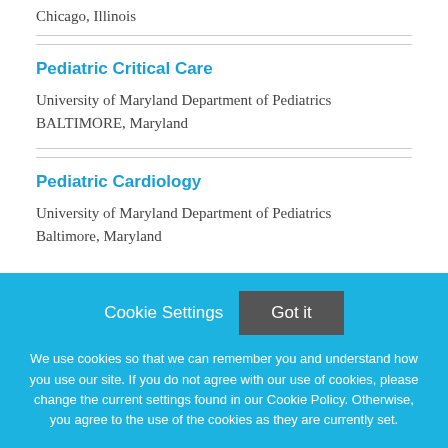Chicago, Illinois
Pediatric Critical Care
University of Maryland Department of Pediatrics
BALTIMORE, Maryland
Pediatric Cardiology
University of Maryland Department of Pediatrics
Baltimore, Maryland
Cookie Settings
Got it
We use cookies so that we can remember you and understand how you use our site. If you do not agree with our use of cookies, please change the current settings found in our Cookie Policy. Otherwise, you agree to the use of the cookies as they are currently set.